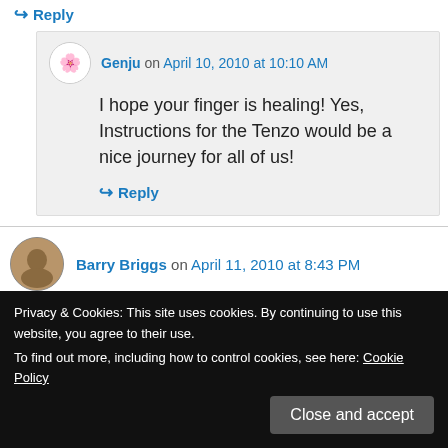↪ Reply
Genju on April 10, 2010 at 10:10 AM
I hope your finger is healing! Yes, Instructions for the Tenzo would be a nice journey for all of us!
↪ Reply
Barry Briggs on April 11, 2010 at 8:43 PM
Privacy & Cookies: This site uses cookies. By continuing to use this website, you agree to their use. To find out more, including how to control cookies, see here: Cookie Policy
Close and accept
clean of all the old, corrupted, virus-infested